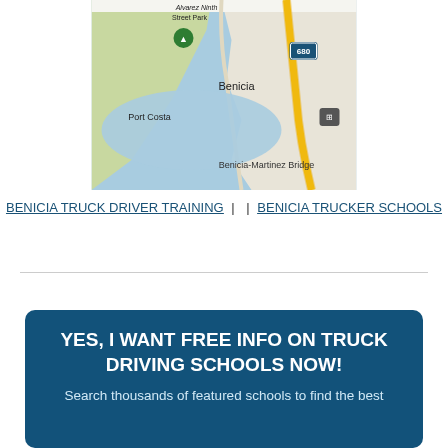[Figure (map): Google Maps screenshot showing Benicia, CA area with Alvarez Ninth Street Park, Port Costa, Benicia-Martinez Bridge, and Interstate 680 visible. A green location pin is shown near Benicia.]
BENICIA TRUCK DRIVER TRAINING | | BENICIA TRUCKER SCHOOLS
YES, I WANT FREE INFO ON TRUCK DRIVING SCHOOLS NOW! Search thousands of featured schools to find the best